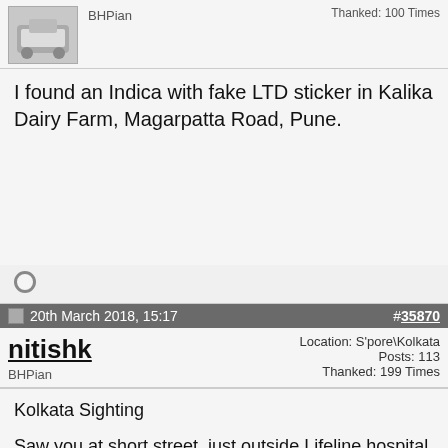[Figure (photo): Car avatar image thumbnail]
BHPian
Thanked: 100 Times
I found an Indica with fake LTD sticker in Kalika Dairy Farm, Magarpatta Road, Pune.
20th March 2018, 15:17  #35870
nitishk
BHPian
Location: S'pore\Kolkata
Posts: 113
Thanked: 199 Times
Kolkata Sighting

Saw you at short street, just outside Lifeline hospital today morning around 9am.

Any Claimants ?
Attached Thumbnails